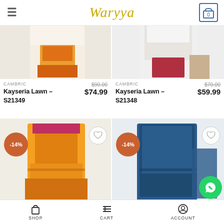Waryya
[Figure (photo): Product image top-left: orange/cream lawn suit partial view]
CAMBRIC
Kayseria Lawn – S21349
$90.00 $74.99
[Figure (photo): Product image top-right: white/red lawn suit partial view]
CAMBRIC
Kayseria Lawn – S21348
$70.00 $59.99
[Figure (photo): Product image bottom-left: orange lawn suit full view with -14% badge]
CAMBRIC
$70.00
[Figure (photo): Product image bottom-right: blue lawn suit full view with -14% badge]
CAMBRIC
SHOP   CART   ACCOUNT